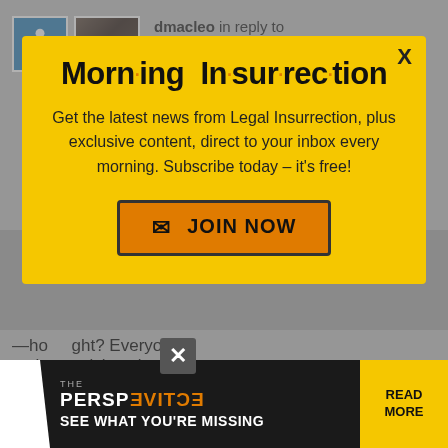dmacleo in reply to Chem_Geek. | August 29, 2013 at 9:39 pm
[Figure (screenshot): Modal popup newsletter signup for Morning Insurrection with yellow background, title 'Morn·ing In·sur·rec·tion', body text inviting subscription, and orange JOIN NOW button with X close button]
[Figure (screenshot): Bottom advertisement banner for 'The Perspective' with text 'SEE WHAT YOU'RE MISSING' and 'READ MORE' button in yellow]